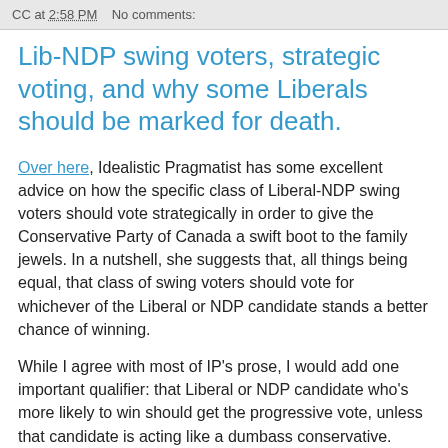CC at 2:58 PM   No comments:
Lib-NDP swing voters, strategic voting, and why some Liberals should be marked for death.
Over here, Idealistic Pragmatist has some excellent advice on how the specific class of Liberal-NDP swing voters should vote strategically in order to give the Conservative Party of Canada a swift boot to the family jewels. In a nutshell, she suggests that, all things being equal, that class of swing voters should vote for whichever of the Liberal or NDP candidate stands a better chance of winning.
While I agree with most of IP's prose, I would add one important qualifier: that Liberal or NDP candidate who's more likely to win should get the progressive vote, unless that candidate is acting like a dumbass conservative.